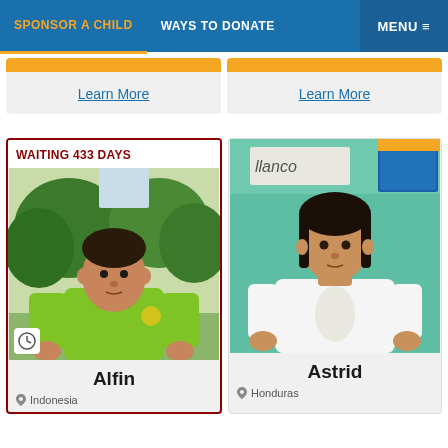SPONSOR A CHILD | WAYS TO DONATE | MENU
Learn More
Learn More
WAITING 433 DAYS
[Figure (photo): Photo of a boy named Alfin wearing a green polo shirt, standing outdoors with trees in background]
Alfin
Indonesia
[Figure (photo): Photo of a girl named Astrid wearing a white t-shirt, standing in front of a teal/green wall with colorful letters]
Astrid
Honduras